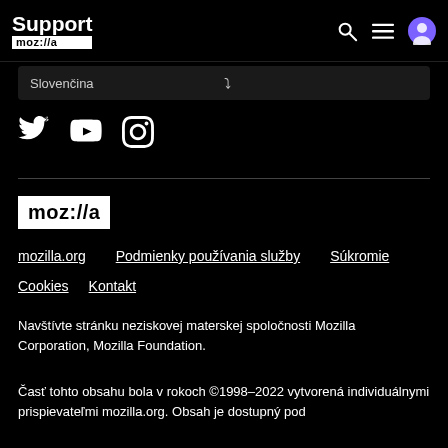Support mozilla
Slovenčina
[Figure (logo): Twitter, YouTube, and Instagram social media icons in white on black background]
[Figure (logo): Mozilla logo: white text 'moz://a' on white rectangle background]
mozilla.org   Podmienky používania služby   Súkromie   Cookies   Kontakt
Navštívte stránku neziskovej materskej spoločnosti Mozilla Corporation, Mozilla Foundation.
Časť tohto obsahu bola v rokoch ©1998–2022 vytvorená individuálnymi prispievateľmi mozilla.org. Obsah je dostupný pod